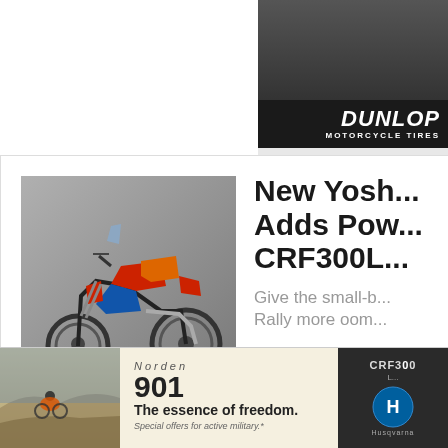[Figure (logo): Dunlop Motorcycle Tires advertisement banner, black background with Dunlop logo]
[Figure (photo): Honda CRF300L Rally motorcycle in red/white/blue colorway on grey background]
New Yosh... Adds Pow... CRF300L...
Give the small-b... Rally more oom...
Published on 05.25.2021
[Figure (photo): 2021 Honda CRF300 motorcycle rider in outdoor desert/rocky terrain]
2021 Hon...
[Figure (advertisement): Husqvarna Norden 901 advertisement - The essence of freedom. Special offers for active military.]